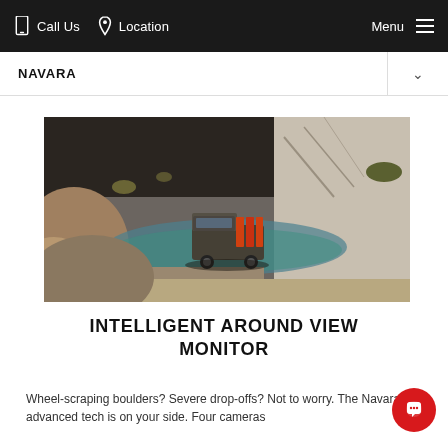Call Us  Location  Menu
NAVARA
[Figure (photo): Aerial view of a dark pickup truck carrying orange bikes in its bed, driving through rocky terrain with a shallow blue-green stream, surrounded by large white boulders and sparse vegetation.]
INTELLIGENT AROUND VIEW MONITOR
Wheel-scraping boulders? Severe drop-offs? Not to worry. The Navara's advanced tech is on your side. Four cameras